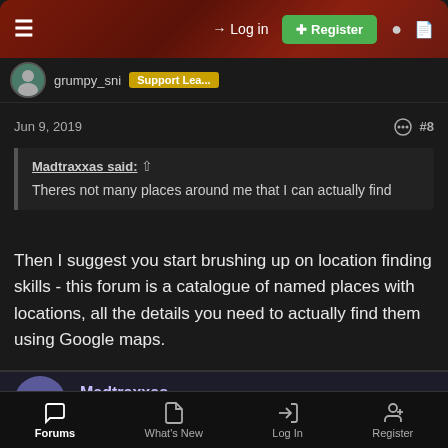Log in | Register
grumpy_sni [Support Lea…
Jun 9, 2019   #8
Madtraxxas said: ↑
Theres not many places around me that I can actually find
Then I suggest you start brushing up on location finding skills - this forum is a catalogue of named places with locations, all the details you need to actually find them using Google maps.
Madtraxxas
28DL Full Member  28DL Full Member
Forums   What's New   Log In   Register